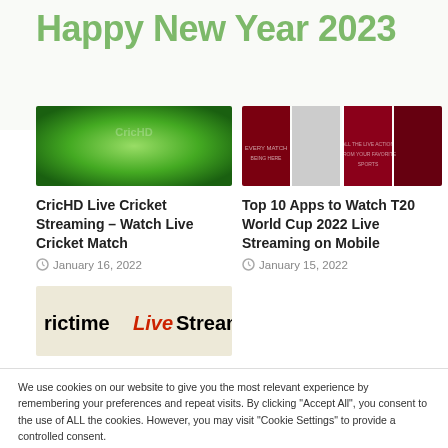Happy New Year 2023
[Figure (screenshot): CricHD website banner with green gradient background]
CricHD Live Cricket Streaming – Watch Live Cricket Match
January 16, 2022
[Figure (screenshot): Top 10 Apps to Watch T20 World Cup 2022 composite image with dark red panels]
Top 10 Apps to Watch T20 World Cup 2022 Live Streaming on Mobile
January 15, 2022
[Figure (screenshot): Crictime Live Streaming website banner]
We use cookies on our website to give you the most relevant experience by remembering your preferences and repeat visits. By clicking "Accept All", you consent to the use of ALL the cookies. However, you may visit "Cookie Settings" to provide a controlled consent.